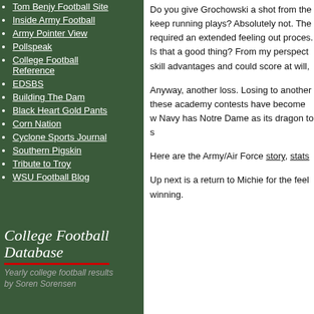Tom Benjy Football Site
Inside Army Football
Army Pointer View
Pollspeak
College Football Reference
EDSBS
Building The Dam
Black Heart Gold Pants
Corn Nation
Cyclone Sports Journal
Southern Pigskin
Tribute to Troy
WSU Football Blog
College Football Database
Yearly college football results by Soren Sorensen
Do you give Grochowski a shot from the keep running plays? Absolutely not. The required an extended feeling out process. Is that a good thing? From my perspective skill advantages and could score at will,
Anyway, another loss. Losing to another these academy contests have become w Navy has Notre Dame as its dragon to s
Here are the Army/Air Force story, stats
Up next is a return to Michie for the feel winning.